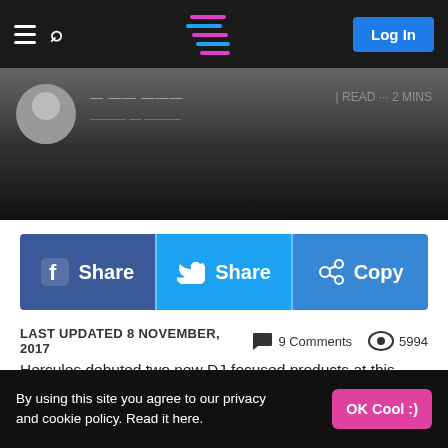Log In
[Figure (screenshot): Website header with hamburger menu, search icon, logo, and Log In button on dark background. Below is a blurred author bar with avatar and read time.]
[Figure (infographic): Social share bar with Facebook Share, Twitter Share, and Copy buttons]
LAST UPDATED 8 NOVEMBER, 2017   9 Comments   5994
Hercules debuted two new DJ-focused products at this year's CES: The DJControlWave, a wireless controller aimed specifically at iPad DJs, and the WAE NEO, which is a Bluetooth speaker. While some readers may find it hard to be excited about an iPad controller, or maybe more so yet another consumer grade wireless speaker, both are actually 2014 CES Innovations Design and Engineering Awards honorees. Let's
By using this site you agree to our privacy and cookie policy. Read it here.